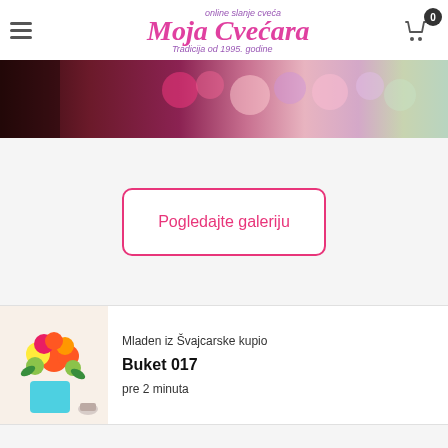Moja Cvećara - online slanje cveća - Tradicija od 1995. godine
[Figure (photo): Cropped banner image showing colorful flower bouquets including red, pink, yellow, and white roses and mixed flowers]
Pogledajte galeriju
Mladen iz Švajcarske kupio
Buket 017
pre 2 minuta
[Figure (photo): Product photo of Buket 017 - a colorful flower bouquet with orange, red, and yellow flowers in a light blue vase on a table]